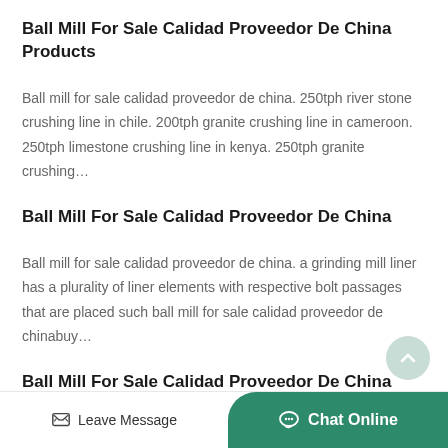Ball Mill For Sale Calidad Proveedor De China Products
Ball mill for sale calidad proveedor de china. 250tph river stone crushing line in chile. 200tph granite crushing line in cameroon. 250tph limestone crushing line in kenya. 250tph granite crushing…
Ball Mill For Sale Calidad Proveedor De China
Ball mill for sale calidad proveedor de china. a grinding mill liner has a plurality of liner elements with respective bolt passages that are placed such ball mill for sale calidad proveedor de chinabuy…
Ball Mill For Sale Calidad Proveedor De China Blaszyk
Leave Message   Chat Online